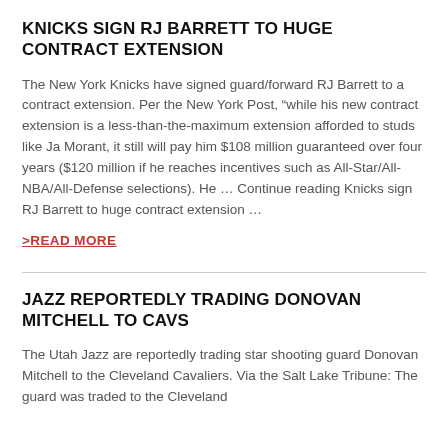KNICKS SIGN RJ BARRETT TO HUGE CONTRACT EXTENSION
The New York Knicks have signed guard/forward RJ Barrett to a contract extension. Per the New York Post, “while his new contract extension is a less-than-the-maximum extension afforded to studs like Ja Morant, it still will pay him $108 million guaranteed over four years ($120 million if he reaches incentives such as All-Star/All-NBA/All-Defense selections). He … Continue reading Knicks sign RJ Barrett to huge contract extension …
>READ MORE
JAZZ REPORTEDLY TRADING DONOVAN MITCHELL TO CAVS
The Utah Jazz are reportedly trading star shooting guard Donovan Mitchell to the Cleveland Cavaliers. Via the Salt Lake Tribune: The guard was traded to the Cleveland